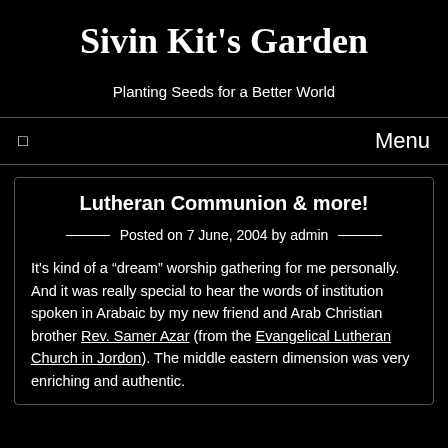Sivin Kit's Garden
Planting Seeds for a Better World
Menu
Lutheran Communion & more!
Posted on 7 June, 2004 by admin
It's kind of a “dream” worship gathering for me personally. And it was really special to hear the words of institution spoken in Arabaic by my new friend and Arab Christian brother Rev. Samer Azar (from the Evangelical Lutheran Church in Jordon). The middle eastern dimension was very enriching and authentic.